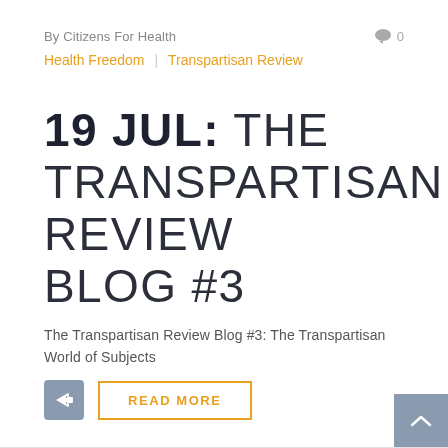By Citizens For Health   0
Health Freedom | Transpartisan Review
19 JUL: THE TRANSPARTISAN REVIEW BLOG #3
The Transpartisan Review Blog #3: The Transpartisan World of Subjects